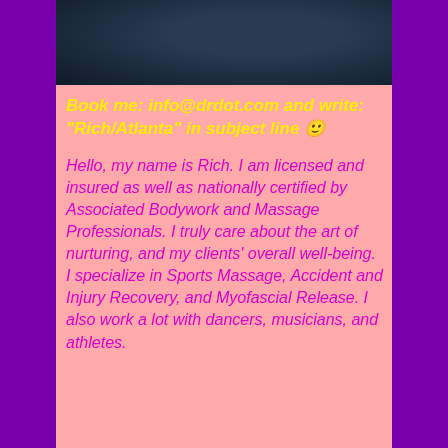[Figure (photo): Dark photo of a person, mostly dark blue/teal tones, cropped at top]
Book me: info@drdot.com and write: "Rich/Atlanta" in subject line 🙂
Hello, my name is Rich. I am licensed and insured as well as nationally certified by Associated Bodywork and Massage Professionals. I truly care about the art of nurturing, and my clients' overall well-being. I specialize in Sports Massage, Accident and Injury Recovery, and Myofascial Release. I also work a lot with dancers, musicians, and athletes.